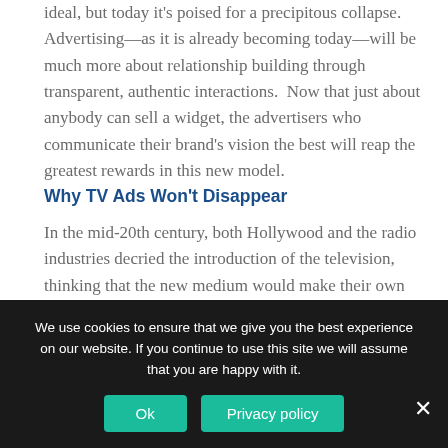ideal, but today it's poised for a precipitous collapse. Advertising—as it is already becoming today—will be much more about relationship building through transparent, authentic interactions. Now that just about anybody can sell a widget, the advertisers who communicate their brand's vision the best will reap the greatest rewards in this new model.
Why TV Ads Won't Disappear
In the mid-20th century, both Hollywood and the radio industries decried the introduction of the television, thinking that the new medium would make their own irrelevant. Today, however, despite many more "advanced" forms of media fighting for consumer attention, both film and radio continue to thrive as
We use cookies to ensure that we give you the best experience on our website. If you continue to use this site we will assume that you are happy with it.